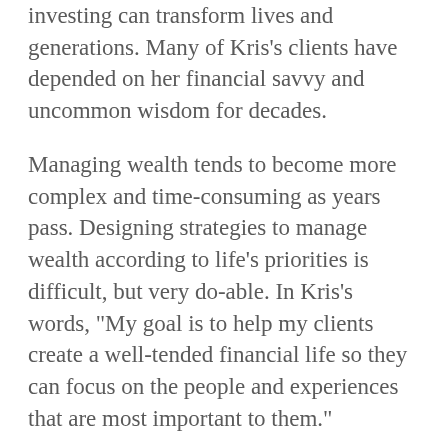investing can transform lives and generations. Many of Kris’s clients have depended on her financial savvy and uncommon wisdom for decades.
Managing wealth tends to become more complex and time-consuming as years pass. Designing strategies to manage wealth according to life’s priorities is difficult, but very do-able. In Kris’s words, “My goal is to help my clients create a well-tended financial life so they can focus on the people and experiences that are most important to them.”
Kris has been a member of the LongView team for over 30 years. She holds a B.S. from Georgia Tech (1981, Business Administration) and a Master’s degree from Georgia State University